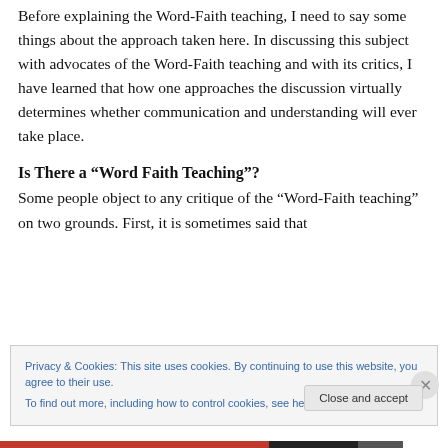Before explaining the Word-Faith teaching, I need to say some things about the approach taken here. In discussing this subject with advocates of the Word-Faith teaching and with its critics, I have learned that how one approaches the discussion virtually determines whether communication and understanding will ever take place.
Is There a “Word Faith Teaching”?
Some people object to any critique of the “Word-Faith teaching” on two grounds. First, it is sometimes said that
Privacy & Cookies: This site uses cookies. By continuing to use this website, you agree to their use.
To find out more, including how to control cookies, see here: Cookie Policy